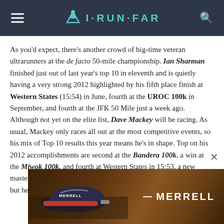I·RUN·FAR
As you'd expect, there's another crowd of big-time veteran ultrarunners at the de facto 50-mile championship. Ian Sharman finished just out of last year's top 10 in eleventh and is quietly having a very strong 2012 highlighted by his fifth place finish at Western States (15:54) in June, fourth at the UROC 100k in September, and fourth at the JFK 50 Mile just a week ago. Although not yet on the elite list, Dave Mackey will be racing. As usual, Mackey only races all out at the most competitive events, so his mix of Top 10 results this year means he's in shape. Top on his 2012 accomplishments are second at the Bandera 100k, a win at the Miwok 100k, and fourth at Western States in 15:53, a new master's course record. Hal Koerner has yet to nail the TNF EC 50, but he's having a strong 2012 with a fourth at the
[Figure (photo): Merrell shoe advertisement banner showing running shoes and MERRELL brand name in white text on dark background]